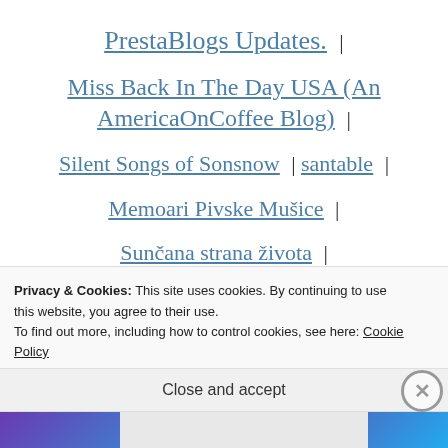PrestaBlogs Updates. |
Miss Back In The Day USA (An AmericaOnCoffee Blog) |
Silent Songs of Sonsnow | santable |
Memoari Pivske Mušice |
Sunčana strana života |
My rebellious world |
Privacy & Cookies: This site uses cookies. By continuing to use this website, you agree to their use. To find out more, including how to control cookies, see here: Cookie Policy
Close and accept